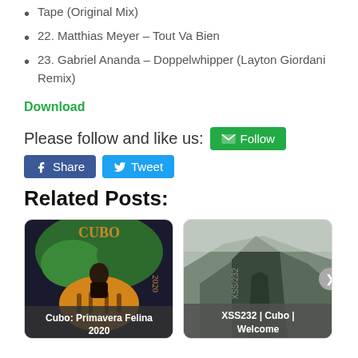Tape (Original Mix)
22. Matthias Meyer – Tout Va Bien
23. Gabriel Ananda – Doppelwhipper (Layton Giordani Remix)
Download
Please follow and like us:
Related Posts:
[Figure (photo): Album cover for Cubo: Primavera Felina 2020 with card label 'Cubo: Primavera Felina 2020']
[Figure (photo): Mountain landscape photo for XSS232 | Cubo | Welcome with card label 'XSS232 | Cubo | Welcome']